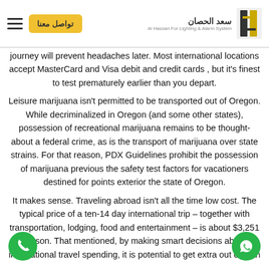تواصل معنا | سعد الحصان - Al Hassan For Lighting & Alarm System
journey will prevent headaches later. Most international locations accept MasterCard and Visa debit and credit cards , but it's finest to test prematurely earlier than you depart.
Leisure marijuana isn't permitted to be transported out of Oregon. While decriminalized in Oregon (and some other states), possession of recreational marijuana remains to be thought-about a federal crime, as is the transport of marijuana over state strains. For that reason, PDX Guidelines prohibit the possession of marijuana previous the safety test factors for vacationers destined for points exterior the state of Oregon.
It makes sense. Traveling abroad isn't all the time low cost. The typical price of a ten-14 day international trip – together with transportation, lodging, food and entertainment – is about $3,251 person. That mentioned, by making smart decisions about international travel spending, it is potential to get extra out of both